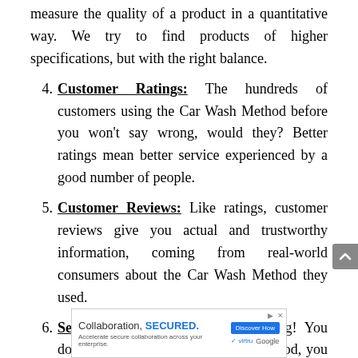measure the quality of a product in a quantitative way. We try to find products of higher specifications, but with the right balance.
4. Customer Ratings: The hundreds of customers using the Car Wash Method before you won't say wrong, would they? Better ratings mean better service experienced by a good number of people.
5. Customer Reviews: Like ratings, customer reviews give you actual and trustworthy information, coming from real-world consumers about the Car Wash Method they used.
6. Seller Rank: Now, this is interesting! You don't just need a good Car Wash Method, you need a product that is trendy and growing in sales. It
[Figure (screenshot): Advertisement banner: 'Collaboration, SECURED.' with Discover How button, Virtru and Google logos]